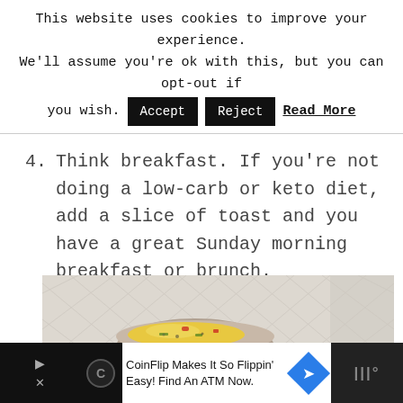This website uses cookies to improve your experience. We'll assume you're ok with this, but you can opt-out if you wish. Accept Reject Read More
4. Think breakfast. If you're not doing a low-carb or keto diet, add a slice of toast and you have a great Sunday morning breakfast or brunch.
[Figure (photo): Photo of a bowl of scrambled eggs with vegetables and toppings on a white patterned cloth background.]
CoinFlip Makes It So Flippin' Easy! Find An ATM Now.